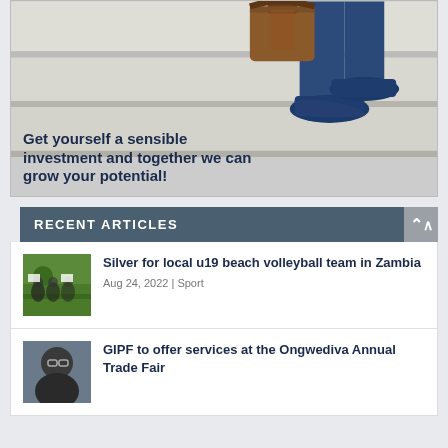[Figure (illustration): Advertisement banner showing feet and legs of a person in blue dress shoes carrying a brown briefcase, walking up stone stairs. Text overlay reads: 'Get yourself a sensible investment and together we can grow your potential!']
RECENT ARTICLES
Silver for local u19 beach volleyball team in Zambia
Aug 24, 2022 | Sport
GIPF to offer services at the Ongwediva Annual Trade Fair